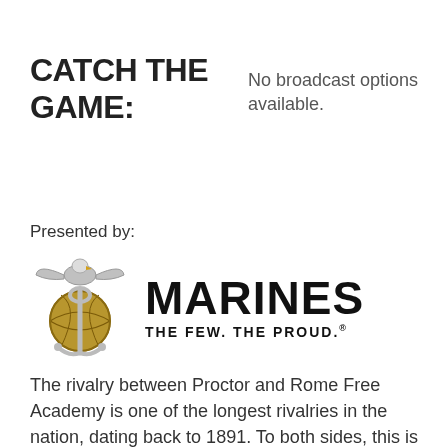CATCH THE GAME:
No broadcast options available.
Presented by:
[Figure (logo): US Marines logo: Eagle Globe and Anchor emblem beside text 'MARINES THE FEW. THE PROUD.']
The rivalry between Proctor and Rome Free Academy is one of the longest rivalries in the nation, dating back to 1891. To both sides, this is a passionate – and sometimes heated – rivalry. Residents from both Rome and Utica gather for this game every